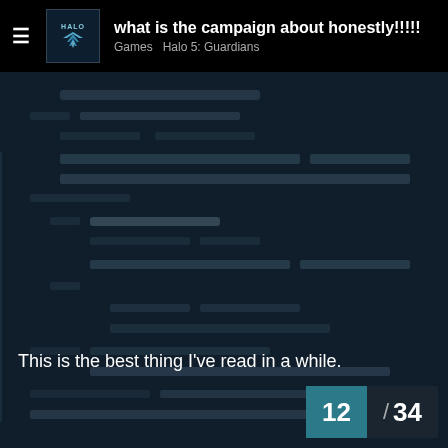what is the campaign about honestly!!!!! · Games  Halo 5: Guardians
[Figure (screenshot): Blurred/redacted Reddit-style comment thread with blurred text blocks on dark blue background]
This is the best thing I've read in a while.
12 / 34